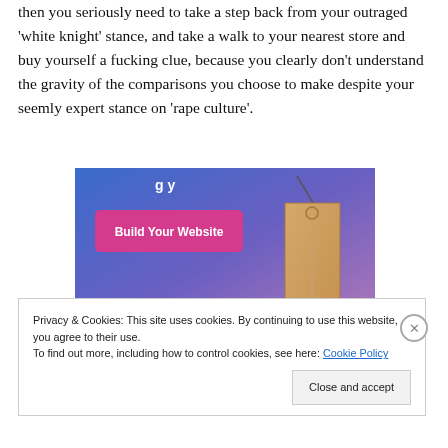then you seriously need to take a step back from your outraged 'white knight' stance, and take a walk to your nearest store and buy yourself a fucking clue, because you clearly don't understand the gravity of the comparisons you choose to make despite your seemly expert stance on 'rape culture'.
[Figure (screenshot): Advertisement banner with blue-to-purple gradient background, a pink 'Build Your Website' button on the left, and a tan/brown price tag hanging on the right side.]
Privacy & Cookies: This site uses cookies. By continuing to use this website, you agree to their use.
To find out more, including how to control cookies, see here: Cookie Policy
Close and accept